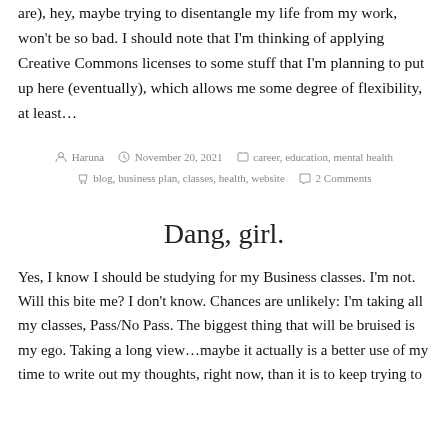are), hey, maybe trying to disentangle my life from my work, won't be so bad. I should note that I'm thinking of applying Creative Commons licenses to some stuff that I'm planning to put up here (eventually), which allows me some degree of flexibility, at least…
By Haruna   November 20, 2021   career, education, mental health   blog, business plan, classes, health, website   2 Comments
Dang, girl.
Yes, I know I should be studying for my Business classes. I'm not. Will this bite me? I don't know. Chances are unlikely: I'm taking all my classes, Pass/No Pass. The biggest thing that will be bruised is my ego. Taking a long view…maybe it actually is a better use of my time to write out my thoughts, right now, than it is to keep trying to